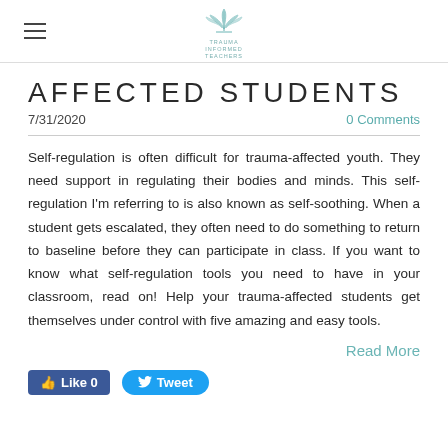Trauma Informed Teachers
AFFECTED STUDENTS
7/31/2020
0 Comments
Self-regulation is often difficult for trauma-affected youth. They need support in regulating their bodies and minds. This self-regulation I'm referring to is also known as self-soothing. When a student gets escalated, they often need to do something to return to baseline before they can participate in class. If you want to know what self-regulation tools you need to have in your classroom, read on! Help your trauma-affected students get themselves under control with five amazing and easy tools.
Read More
Like 0
Tweet